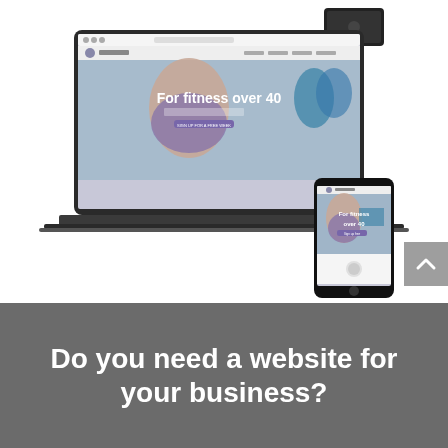[Figure (screenshot): A responsive website mockup showing a fitness website titled 'For fitness over 40' displayed on a laptop and a smartphone. The website shows a woman doing yoga with other people in the background. The laptop screen shows the full website with navigation bar and a call-to-action button. The smartphone shows the mobile version of the same website.]
Do you need a website for your business?